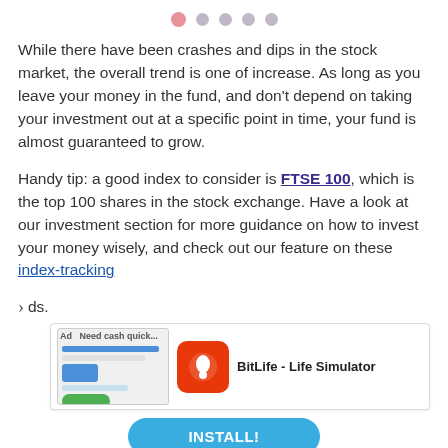pagination dots (5 dots, first active)
While there have been crashes and dips in the stock market, the overall trend is one of increase. As long as you leave your money in the fund, and don't depend on taking your investment out at a specific point in time, your fund is almost guaranteed to grow.
Handy tip: a good index to consider is FTSE 100, which is the top 100 shares in the stock exchange. Have a look at our investment section for more guidance on how to invest your money wisely, and check out our feature on these index-tracking funds.
[Figure (screenshot): Mobile ad banner for BitLife - Life Simulator app with an INSTALL button]